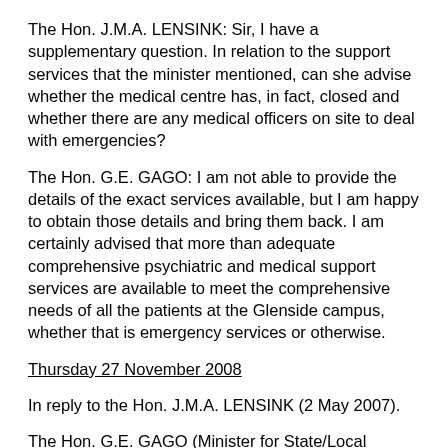The Hon. J.M.A. LENSINK: Sir, I have a supplementary question. In relation to the support services that the minister mentioned, can she advise whether the medical centre has, in fact, closed and whether there are any medical officers on site to deal with emergencies?
The Hon. G.E. GAGO: I am not able to provide the details of the exact services available, but I am happy to obtain those details and bring them back. I am certainly advised that more than adequate comprehensive psychiatric and medical support services are available to meet the comprehensive needs of all the patients at the Glenside campus, whether that is emergency services or otherwise.
Thursday 27 November 2008
In reply to the Hon. J.M.A. LENSINK (2 May 2007).
The Hon. G.E. GAGO (Minister for State/Local Government Relations, Minister for the Status of Women, Minister for Consumer Affairs, Minister for Government Enterprises, Minister Assisting the Minister for Transport, Assessment and Ports): The Min...